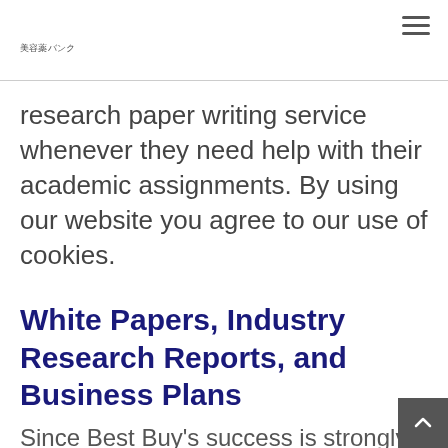美容薬バンク
research paper writing service whenever they need help with their academic assignments. By using our website you agree to our use of cookies.
White Papers, Industry Research Reports, and Business Plans
Since Best Buy's success is strongly dependable. As always, you must check information about the writers as you pa to write essay if it is possible and tend